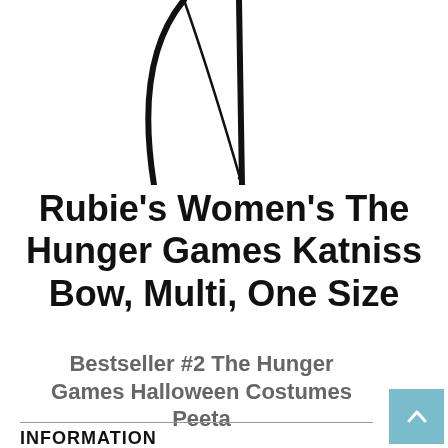[Figure (illustration): Partial view of a bow (archery bow) shown from top, with curved limb and string visible against white background]
Rubie's Women's The Hunger Games Katniss Bow, Multi, One Size
Bestseller #2 The Hunger Games Halloween Costumes Peeta
INFORMATION